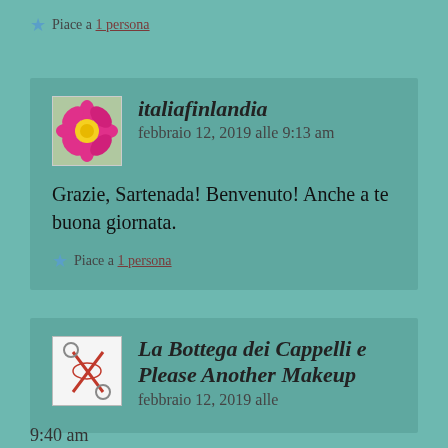★ Piace a 1 persona
italiafinlandia    febbraio 12, 2019 alle 9:13 am
Grazie, Sartenada! Benvenuto! Anche a te buona giornata.
★ Piace a 1 persona
La Bottega dei Cappelli e Please Another Makeup    febbraio 12, 2019 alle 9:40 am